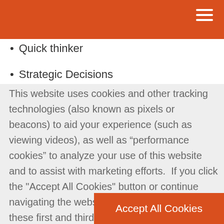Quick thinker
Strategic Decisions
This website uses cookies and other tracking technologies (also known as pixels or beacons) to aid your experience (such as viewing videos), as well as “performance cookies” to analyze your use of this website and to assist with marketing efforts.  If you click the "Accept All Cookies" button or continue navigating the website, you agree to having these first and third party cookies
Accept All Cookies